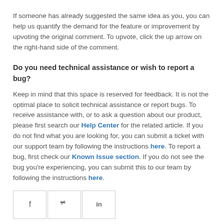If someone has already suggested the same idea as you, you can help us quantify the demand for the feature or improvement by upvoting the original comment. To upvote, click the up arrow on the right-hand side of the comment.
Do you need technical assistance or wish to report a bug?
Keep in mind that this space is reserved for feedback. It is not the optimal place to solicit technical assistance or report bugs. To receive assistance with, or to ask a question about our product, please first search our Help Center for the related article. If you do not find what you are looking for, you can submit a ticket with our support team by following the instructions here. To report a bug, first check our Known Issue section. If you do not see the bug you're experiencing, you can submit this to our team by following the instructions here.
[Figure (other): Social sharing icons: Facebook (f), Twitter (bird), LinkedIn (in) in bordered square boxes, plus an orange-bordered box with three bar chart icons.]